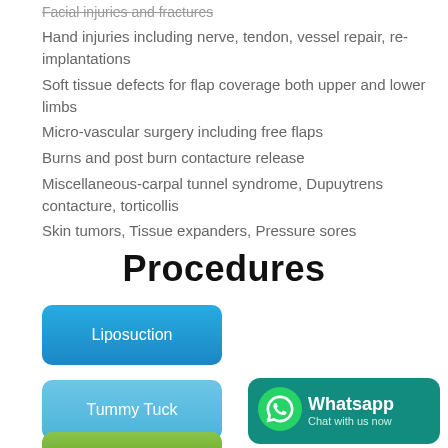Facial injuries and fractures
Hand injuries including nerve, tendon, vessel repair, re-implantations
Soft tissue defects for flap coverage both upper and lower limbs
Micro-vascular surgery including free flaps
Burns and post burn contacture release
Miscellaneous-carpal tunnel syndrome, Dupuytrens contacture, torticollis
Skin tumors, Tissue expanders, Pressure sores
Procedures
Liposuction
Tummy Tuck
[Figure (logo): WhatsApp Chat with us now badge]